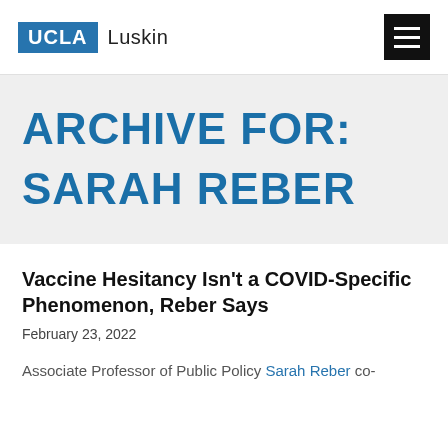UCLA Luskin
ARCHIVE FOR: SARAH REBER
Vaccine Hesitancy Isn't a COVID-Specific Phenomenon, Reber Says
February 23, 2022
Associate Professor of Public Policy Sarah Reber co-